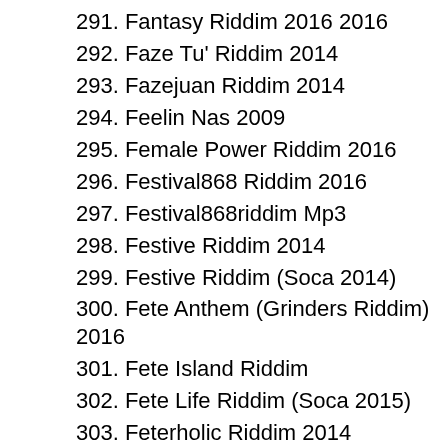291. Fantasy Riddim 2016 2016
292. Faze Tu' Riddim 2014
293. Fazejuan Riddim 2014
294. Feelin Nas 2009
295. Female Power Riddim 2016
296. Festival868 Riddim 2016
297. Festival868riddim Mp3
298. Festive Riddim 2014
299. Festive Riddim (Soca 2014)
300. Fete Anthem (Grinders Riddim) 2016
301. Fete Island Riddim
302. Fete Life Riddim (Soca 2015)
303. Feterholic Riddim 2014
304. Filthy Riddim 2014
305. Fireworks Riddim 2016
306. First Heaven Riddim (2010 Soca) Francis Leebo De Lima (St. Lucia)
307. Fix It Up (Get Jiggy Refix) 2009
308. Flags Up Riddim 2014